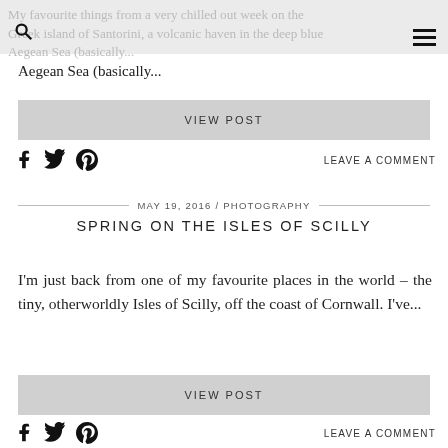My favourite things from a very chilled out week on the Greek island of Santorini, a volcanic haven in the deep blue Aegean Sea (basically...
Aegean Sea (basically...
VIEW POST
LEAVE A COMMENT
MAY 19, 2016 / PHOTOGRAPHY
SPRING ON THE ISLES OF SCILLY
I'm just back from one of my favourite places in the world – the tiny, otherworldly Isles of Scilly, off the coast of Cornwall. I've...
VIEW POST
LEAVE A COMMENT